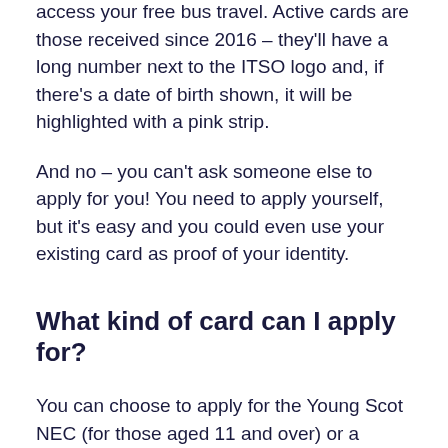access your free bus travel. Active cards are those received since 2016 – they'll have a long number next to the ITSO logo and, if there's a date of birth shown, it will be highlighted with a pink strip.
And no – you can't ask someone else to apply for you! You need to apply yourself, but it's easy and you could even use your existing card as proof of your identity.
What kind of card can I apply for?
You can choose to apply for the Young Scot NEC (for those aged 11 and over) or a standard